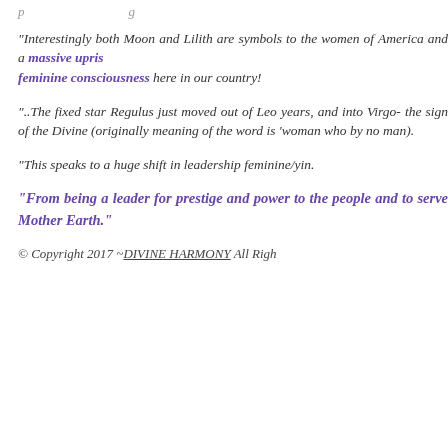“Interestingly both Moon and Lilith are symbols to the women of America and a massive uprising of feminine consciousness here in our country!
“..The fixed star Regulus just moved out of Leo years, and into Virgo- the sign of the Divine (originally meaning of the word is ‘woman who by no man).
“This speaks to a huge shift in leadership feminine/yin.
“From being a leader for prestige and power to the people and to serve Mother Earth.”
© Copyright 2017 ~DIVINE HARMONY All Righ